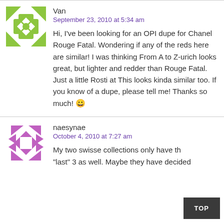Van
September 23, 2010 at 5:34 am
Hi, I've been looking for an OPI dupe for Chanel Rouge Fatal. Wondering if any of the reds here are similar! I was thinking From A to Z-urich looks great, but lighter and redder than Rouge Fatal. Just a little Rosti at This looks kinda similar too. If you know of a dupe, please tell me! Thanks so much! 😀
naesynae
October 4, 2010 at 7:27 am
My two swisse collections only have th "last" 3 as well. Maybe they have decided